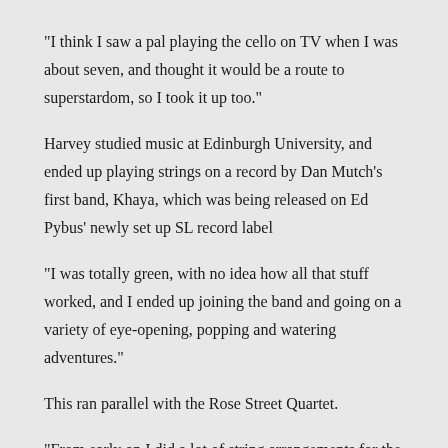“I think I saw a pal playing the cello on TV when I was about seven, and thought it would be a route to superstardom, so I took it up too.”
Harvey studied music at Edinburgh University, and ended up playing strings on a record by Dan Mutch’s first band, Khaya, which was being released on Ed Pybus’ newly set up SL record label
“I was totally green, with no idea how all that stuff worked, and I ended up joining the band and going on a variety of eye-opening, popping and watering adventures.”
This ran parallel with the Rose Street Quartet.
“From early on I did a lot of string arrangements for the group, whilst also getting absorbed by orchestration, counterpoint and harmony at uni, so that laid all the foundations.”